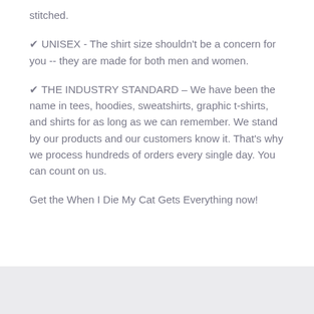stitched.
✔ UNISEX - The shirt size shouldn't be a concern for you -- they are made for both men and women.
✔ THE INDUSTRY STANDARD – We have been the name in tees, hoodies, sweatshirts, graphic t-shirts, and shirts for as long as we can remember. We stand by our products and our customers know it. That's why we process hundreds of orders every single day. You can count on us.
Get the When I Die My Cat Gets Everything now!